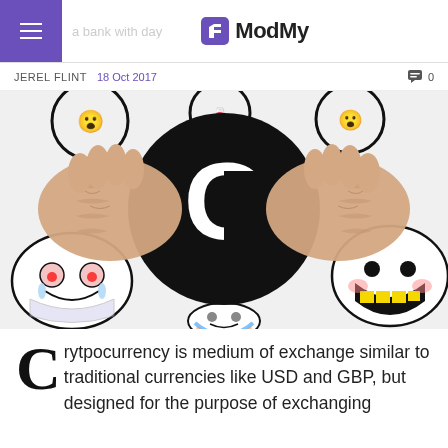ModMy
JEREL FLINT   18 Oct 2017   0
[Figure (illustration): Two hands gripping a large black circular token/coin with a white G logo on it, set against a colorful cartoon face illustration background.]
Crytpocurrency is medium of exchange similar to traditional currencies like USD and GBP, but designed for the purpose of exchanging